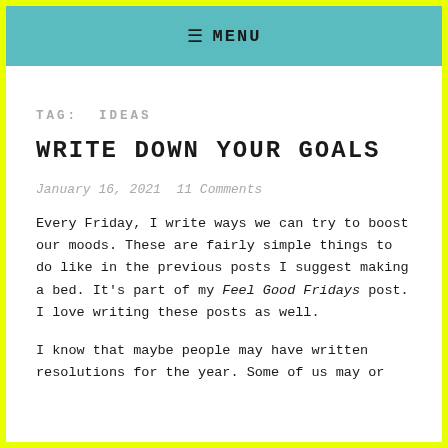≡ MENU
TAG: IDEAS
WRITE DOWN YOUR GOALS
January 16, 2021  11 Comments
Every Friday, I write ways we can try to boost our moods. These are fairly simple things to do like in the previous posts I suggest making a bed. It's part of my Feel Good Fridays post. I love writing these posts as well.
I know that maybe people may have written resolutions for the year. Some of us may or